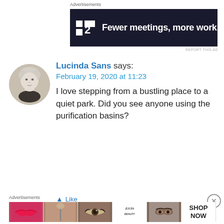Advertisements
[Figure (illustration): Dark banner advertisement for Fewer meetings, more work (P2 logo)]
REPORT THIS AD
[Figure (photo): Black and white circular avatar photo of a child with blonde hair]
Lucinda Sans says:
February 19, 2020 at 11:23
I love stepping from a bustling place to a quiet park. Did you see anyone using the purification basins?
Like
Advertisements
[Figure (illustration): Ulta Beauty advertisement banner with makeup imagery and SHOP NOW button]